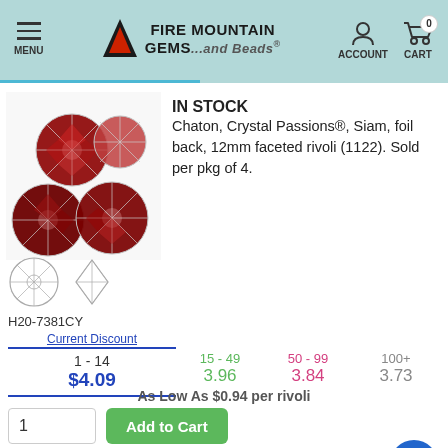[Figure (logo): Fire Mountain Gems and Beads logo with navigation header including MENU hamburger, account icon, and cart icon showing 0 items]
[Figure (photo): Four dark red/Siam colored crystal rivoli gemstones with faceted cuts and foil backs arranged in a cluster]
IN STOCK
Chaton, Crystal Passions®, Siam, foil back, 12mm faceted rivoli (1122). Sold per pkg of 4.
[Figure (illustration): Two small line drawings showing top and side profile views of the rivoli gemstone shape]
H20-7381CY
| Current Discount | 15 - 49 | 50 - 99 | 100+ |
| --- | --- | --- | --- |
| 1 - 14 |  |  |  |
| $4.09 | 3.96 | 3.84 | 3.73 |
As Low As $0.94 per rivoli
Other Package Size(s) Here
REGULAR STOCK
IN STOCK